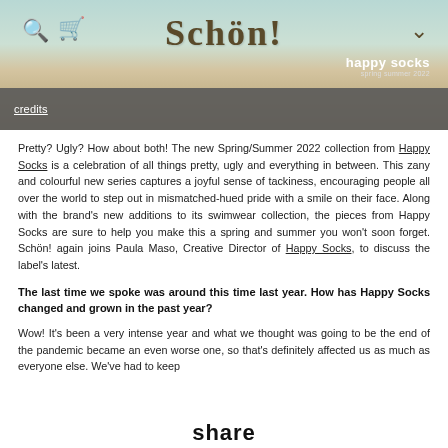[Figure (screenshot): Website header showing the Schön! magazine logo with search and cart icons, a fashion illustration of legs wearing colorful Happy Socks with a credits button overlay, and a Happy Socks spring/summer 2022 badge.]
Pretty? Ugly? How about both! The new Spring/Summer 2022 collection from Happy Socks is a celebration of all things pretty, ugly and everything in between. This zany and colourful new series captures a joyful sense of tackiness, encouraging people all over the world to step out in mismatched-hued pride with a smile on their face. Along with the brand's new additions to its swimwear collection, the pieces from Happy Socks are sure to help you make this a spring and summer you won't soon forget. Schön! again joins Paula Maso, Creative Director of Happy Socks, to discuss the label's latest.
The last time we spoke was around this time last year. How has Happy Socks changed and grown in the past year?
Wow! It's been a very intense year and what we thought was going to be the end of the pandemic became an even worse one, so that's definitely affected us as much as everyone else. We've had to keep
share